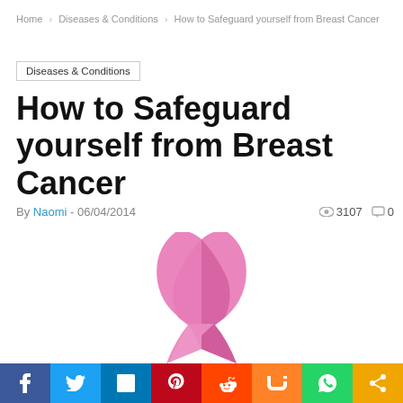Home › Diseases & Conditions › How to Safeguard yourself from Breast Cancer
Diseases & Conditions
How to Safeguard yourself from Breast Cancer
By Naomi - 06/04/2014  👁 3107  💬 0
[Figure (photo): Pink breast cancer awareness ribbon on white background, partially visible at bottom of page]
[Figure (infographic): Social media share bar with Facebook, Twitter, LinkedIn, Pinterest, Reddit, Mix, WhatsApp, and Share buttons]